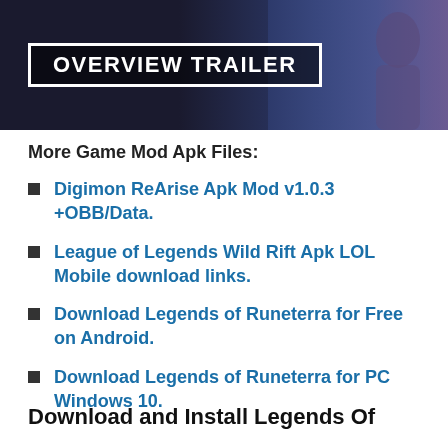[Figure (screenshot): Dark banner image with 'OVERVIEW TRAILER' text in a white-bordered box on a dark background with a faint character figure visible on the right.]
More Game Mod Apk Files:
Digimon ReArise Apk Mod v1.0.3 +OBB/Data.
League of Legends Wild Rift Apk LOL Mobile download links.
Download Legends of Runeterra for Free on Android.
Download Legends of Runeterra for PC Windows 10.
Download and Install Legends Of